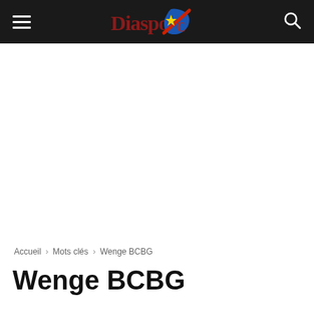DiaspoDC – navigation bar with hamburger menu, logo, and search icon
Accueil › Mots clés › Wenge BCBG
Wenge BCBG